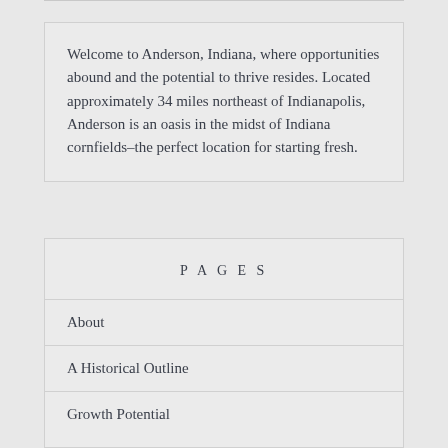Welcome to Anderson, Indiana, where opportunities abound and the potential to thrive resides. Located approximately 34 miles northeast of Indianapolis, Anderson is an oasis in the midst of Indiana cornfields–the perfect location for starting fresh.
PAGES
About
A Historical Outline
Growth Potential